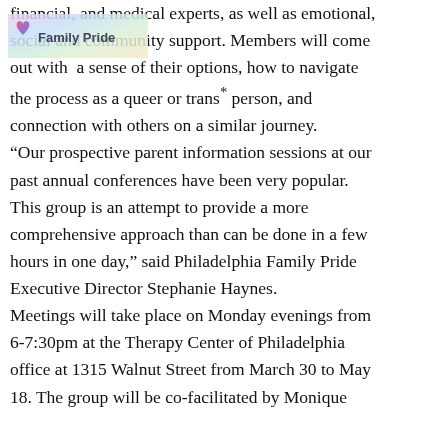[Figure (logo): Philadelphia Family Pride logo with rainbow heart and text 'Family Pride' on a gradient background]
financial, and medical experts, as well as emotional, social and community support. Members will come out with a sense of their options, how to navigate the process as a queer or trans* person, and connection with others on a similar journey.
“Our prospective parent information sessions at our past annual conferences have been very popular. This group is an attempt to provide a more comprehensive approach than can be done in a few hours in one day,” said Philadelphia Family Pride Executive Director Stephanie Haynes.
Meetings will take place on Monday evenings from 6-7:30pm at the Therapy Center of Philadelphia office at 1315 Walnut Street from March 30 to May 18. The group will be co-facilitated by Monique